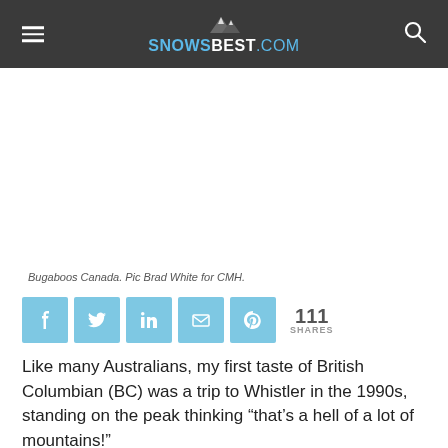SNOWSBEST.COM
[Figure (photo): Blank white image placeholder area for Bugaboos Canada photo]
Bugaboos Canada. Pic Brad White for CMH.
[Figure (infographic): Social share bar with Facebook, Twitter, LinkedIn, Email, Pinterest icons and 111 SHARES count]
Like many Australians, my first taste of British Columbian (BC) was a trip to Whistler in the 1990s, standing on the peak thinking “that’s a hell of a lot of mountains!”